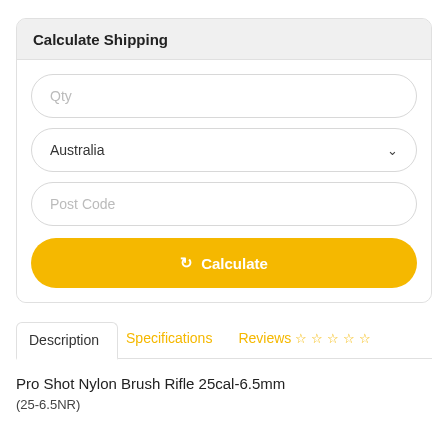Calculate Shipping
Qty
Australia
Post Code
Calculate
Description | Specifications | Reviews
Pro Shot Nylon Brush Rifle 25cal-6.5mm
(25-6.5NR)